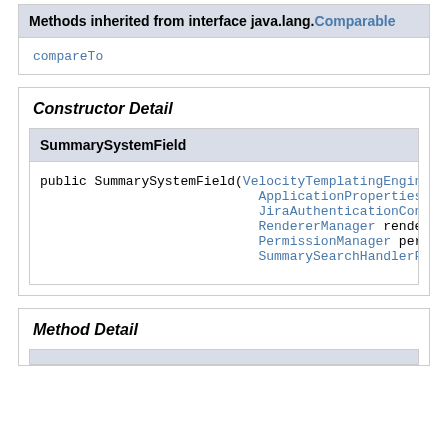Methods inherited from interface java.lang.Comparable
compareTo
Constructor Detail
SummarySystemField
public SummarySystemField(VelocityTemplatingEngin… ApplicationProperties a… JiraAuthenticationConte… RendererManager rendere… PermissionManager permi… SummarySearchHandlerFac…
Method Detail